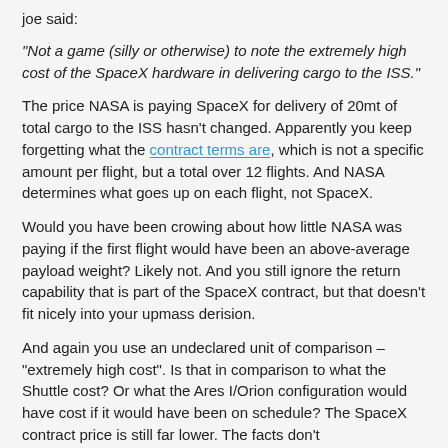joe said:
"Not a game (silly or otherwise) to note the extremely high cost of the SpaceX hardware in delivering cargo to the ISS."
The price NASA is paying SpaceX for delivery of 20mt of total cargo to the ISS hasn't changed. Apparently you keep forgetting what the contract terms are, which is not a specific amount per flight, but a total over 12 flights. And NASA determines what goes up on each flight, not SpaceX.
Would you have been crowing about how little NASA was paying if the first flight would have been an above-average payload weight? Likely not. And you still ignore the return capability that is part of the SpaceX contract, but that doesn't fit nicely into your upmass derision.
And again you use an undeclared unit of comparison – "extremely high cost". Is that in comparison to what the Shuttle cost? Or what the Ares I/Orion configuration would have cost if it would have been on schedule? The SpaceX contract price is still far lower. The facts don't